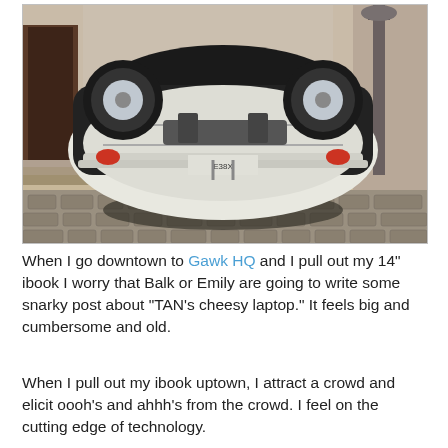[Figure (photo): A Volkswagen Beetle car flipped upside-down on a cobblestone street, with a white bottom facing up and the dark top on the ground, in front of a building with stairs and a lamppost.]
When I go downtown to Gawk HQ and I pull out my 14" ibook I worry that Balk or Emily are going to write some snarky post about "TAN's cheesy laptop." It feels big and cumbersome and old.
When I pull out my ibook uptown, I attract a crowd and elicit oooh's and ahhh's from the crowd. I feel on the cutting edge of technology.